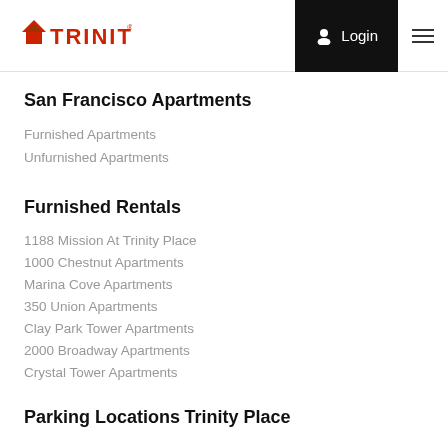TRINITY | Login
San Francisco Apartments
Furnished Apartments
Unfurnished Apartments
Furnished Rentals
1188 Mission At Trinity Place
1000 Chestnut Apartments
Marina Cove Apartments
350 Union Apartments
Clay Park Tower Apartments
2000 Broadway Apartments
Crystal Tower Apartments
Parking Locations
Trinity Place